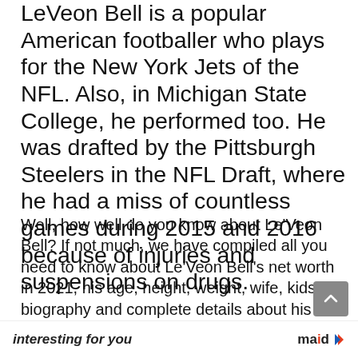LeVeon Bell is a popular American footballer who plays for the New York Jets of the NFL. Also, in Michigan State College, he performed too. He was drafted by the Pittsburgh Steelers in the NFL Draft, where he had a miss of countless games during 2015 and 2016 because of injuries and suspensions on drugs.
Well, how well do you know about Le'Veon Bell? If not much, we have compiled all you need to know about Le'Veon Bell's net worth in 2021, his age, height, weight, wife, kids, biography and complete details about his life. Well, if you're all set, here is what we know about Le'Veon Bell to date.
interesting for you   maid